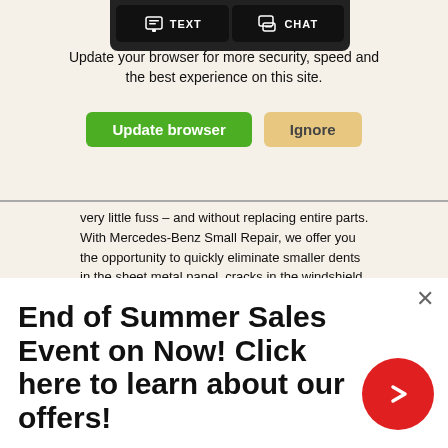[Figure (screenshot): Browser update notification banner with globe icon, text about outdated browser, and two buttons: 'Update browser' (green) and 'Ignore' (tan/yellow). Above it is a dark popup bar with TEXT and CHAT buttons.]
very little fuss – and without replacing entire parts. With Mercedes-Benz Small Repair, we offer you the opportunity to quickly eliminate smaller dents in the sheet metal panel, cracks in the windshield or damage to the bumper quickly and to Mercedes-Benz standards*.
*Small Repairs are assessed on a case by case basis. Please speak to your Service Advisor for details.
Service Info
[Figure (infographic): End of Summer Sales Event advertisement overlay with bold black text and red circular arrow button on right.]